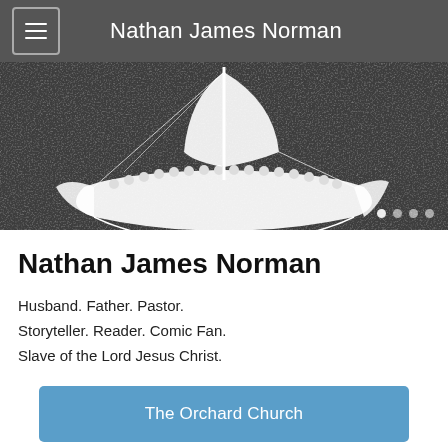Nathan James Norman
[Figure (illustration): A stylized white paper-cut viking longship with a large sail and oars, centered on a dark gray textured background. Navigation dots appear in the bottom right corner.]
Nathan James Norman
Husband. Father. Pastor. Storyteller. Reader. Comic Fan. Slave of the Lord Jesus Christ.
The Orchard Church
Trinity Watch: How the West was Lost